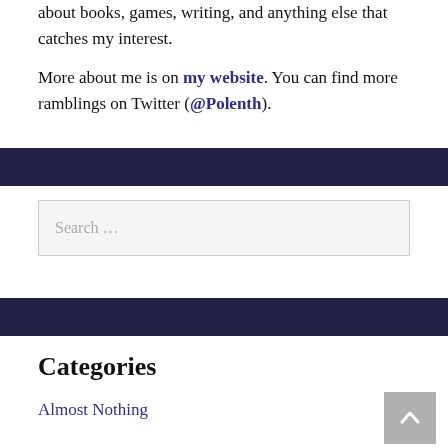about books, games, writing, and anything else that catches my interest.

More about me is on my website. You can find more ramblings on Twitter (@Polenth).
Categories
Almost Nothing